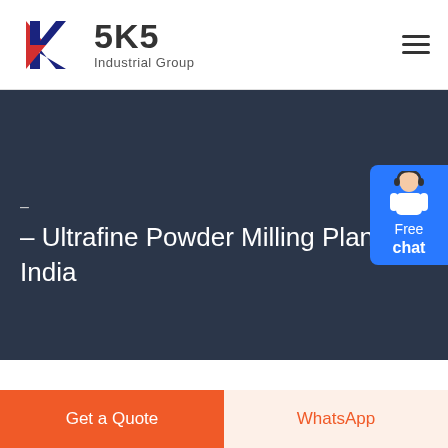[Figure (logo): SKS Industrial Group logo with red and blue K-shaped emblem and bold SKS text with 'Industrial Group' subtitle]
– Ultrafine Powder Milling Plant in India
Gallery
[Figure (illustration): Free chat widget with person avatar on blue background in top right corner]
Get a Quote
WhatsApp